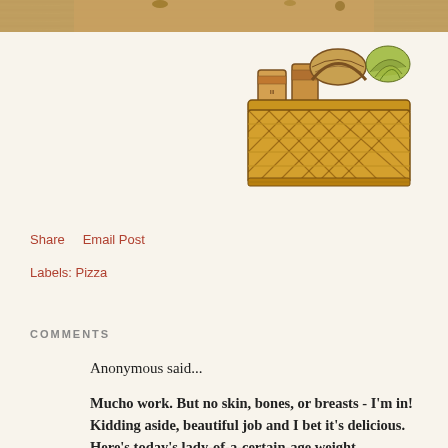[Figure (photo): Top portion of a food photo, showing what appears to be a dish on a wooden surface, only the very top strip is visible]
[Figure (illustration): A black line drawing of a wicker picnic/grocery basket filled with food items including cans, bottles, bread, and vegetables]
Share    Email Post
Labels: Pizza
COMMENTS
Anonymous said...
Mucho work. But no skin, bones, or breasts - I'm in! Kidding aside, beautiful job and I bet it's delicious. Here's today's lady-of-a-certain-age weight maintenance tip - put a belt on each morning and don't let yourself loosen it or take